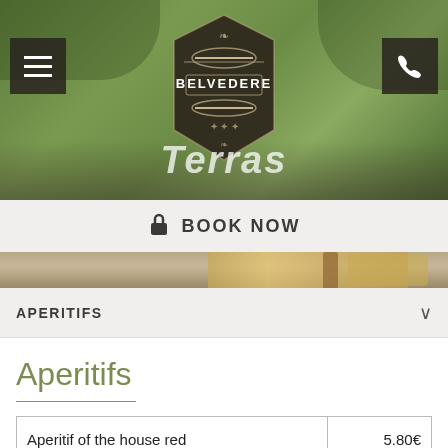[Figure (photo): Hero banner with green outdoor terrace background, Belvedere restaurant logo badge in center, menu icon top-left, phone icon top-right, 'Terras' text overlay at bottom]
BOOK NOW
[Figure (photo): Beer glasses and bottles strip image]
APERITIFS
Aperitifs
| Item | Price |
| --- | --- |
| Aperitif of the house red | 5.80€ |
| Aperitif of the house blue | 6.60€ |
| Picon with white wine | 5.80€ |